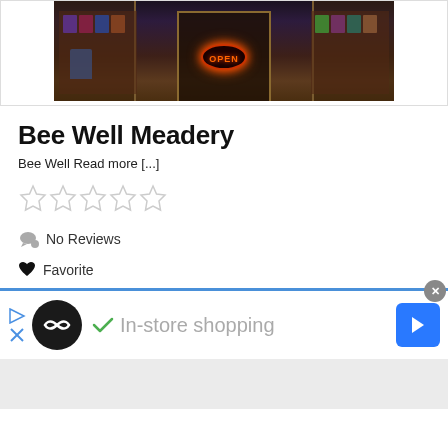[Figure (photo): Store front at night with neon OPEN sign, wooden frame, display windows with products]
Bee Well Meadery
Bee Well Read more [...]
[Figure (other): Five empty/outline stars rating display]
No Reviews
Favorite
In-store shopping